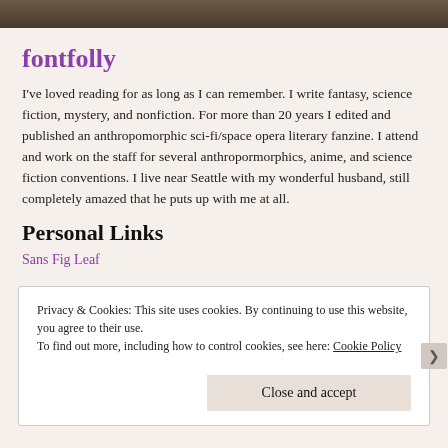[Figure (photo): Dark photo strip at top of page, partially visible]
fontfolly
I've loved reading for as long as I can remember. I write fantasy, science fiction, mystery, and nonfiction. For more than 20 years I edited and published an anthropomorphic sci-fi/space opera literary fanzine. I attend and work on the staff for several anthropormorphics, anime, and science fiction conventions. I live near Seattle with my wonderful husband, still completely amazed that he puts up with me at all.
Personal Links
Sans Fig Leaf
Privacy & Cookies: This site uses cookies. By continuing to use this website, you agree to their use.
To find out more, including how to control cookies, see here: Cookie Policy
Close and accept